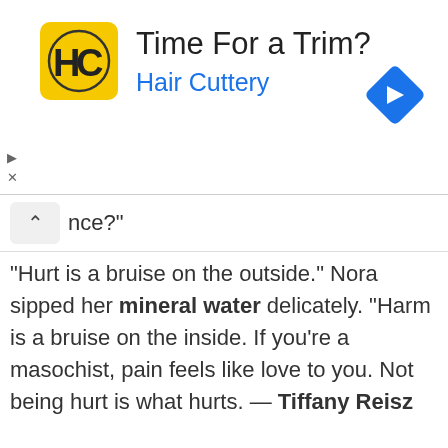[Figure (infographic): Hair Cuttery advertisement banner with yellow logo showing 'HC' text, headline 'Time For a Trim?', subtext 'Hair Cuttery', and blue diamond navigation arrow on right]
nce?"
"Hurt is a bruise on the outside." Nora sipped her mineral water delicately. "Harm is a bruise on the inside. If you're a masochist, pain feels like love to you. Not being hurt is what hurts. — Tiffany Reisz